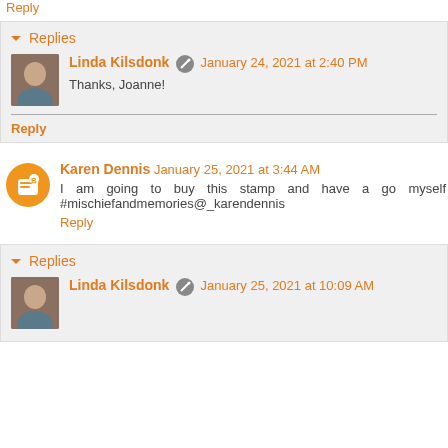Reply
Replies
Linda Kilsdonk · January 24, 2021 at 2:40 PM
Thanks, Joanne!
Reply
Karen Dennis January 25, 2021 at 3:44 AM
I am going to buy this stamp and have a go myself #mischiefandmemories@_karendennis
Reply
Replies
Linda Kilsdonk · January 25, 2021 at 10:09 AM